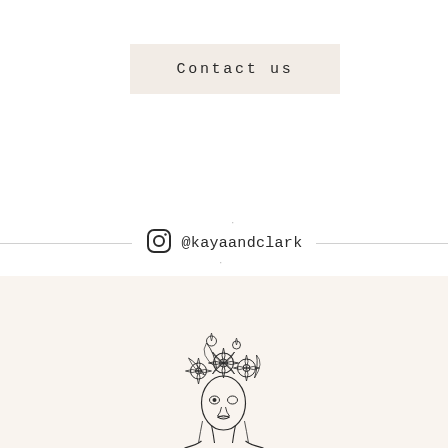Contact us
@kayaandclark
[Figure (illustration): Black and white line-art illustration of a woman's face with large flowers covering the top of her head, partially visible from mid-page bottom.]